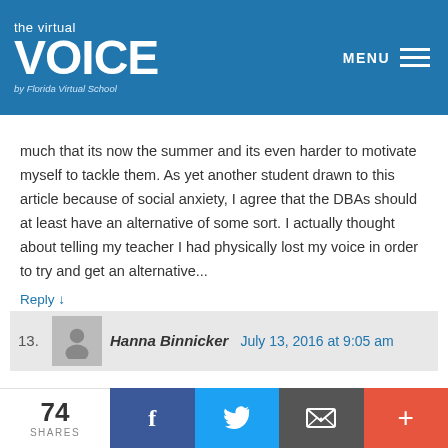[Figure (logo): The Virtual Voice by Florida Virtual School logo — white text on blue background with MENU hamburger icon]
much that its now the summer and its even harder to motivate myself to tackle them. As yet another student drawn to this article because of social anxiety, I agree that the DBAs should at least have an alternative of some sort. I actually thought about telling my teacher I had physically lost my voice in order to try and get an alternative...
Reply ↓
13. Hanna Binnicker  July 13, 2016 at 9:05 am
I am currently a senior and I have been taking FLVS
74 SHARES